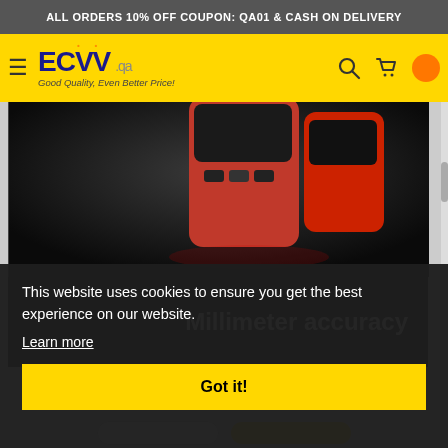ALL ORDERS 10% OFF COUPON: QA01 & CASH ON DELIVERY
[Figure (logo): ECVV.qa logo with hamburger menu, search and cart icons on yellow navigation bar]
[Figure (photo): Red handheld measurement device on dark background, partially visible]
Millimeter accuracy
This website uses cookies to ensure you get the best experience on our website.
Learn more
Got it!